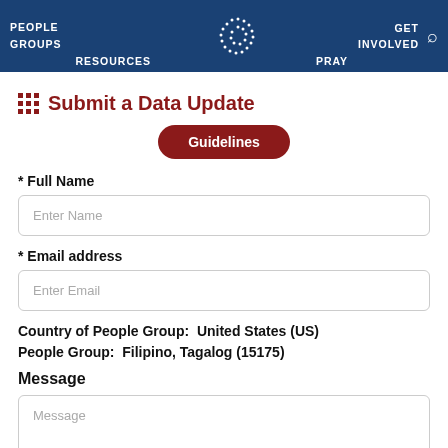PEOPLE GROUPS  RESOURCES  [logo]  PRAY  GET INVOLVED  [search]
Submit a Data Update
Guidelines
* Full Name
Enter Name
* Email address
Enter Email
Country of People Group:  United States (US)
People Group:  Filipino, Tagalog (15175)
Message
Message